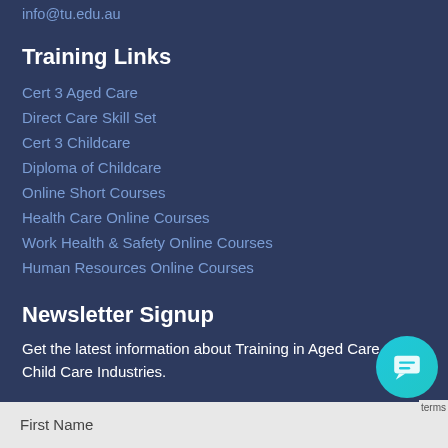info@tu.edu.au
Training Links
Cert 3 Aged Care
Direct Care Skill Set
Cert 3 Childcare
Diploma of Childcare
Online Short Courses
Health Care Online Courses
Work Health & Safety Online Courses
Human Resources Online Courses
Newsletter Signup
Get the latest information about Training in Aged Care and Child Care Industries.
First Name